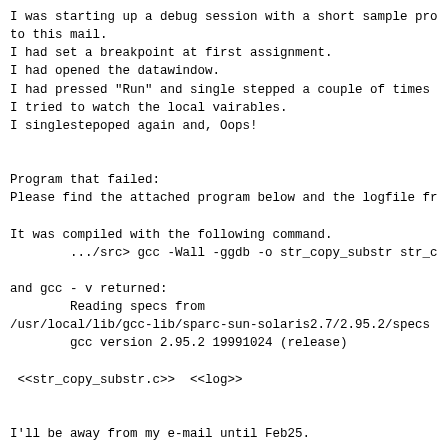I was starting up a debug session with a short sample pro
to this mail.
I had set a breakpoint at first assignment.
I had opened the datawindow.
I had pressed "Run" and single stepped a couple of times
I tried to watch the local vairables.
I singlestepoped again and, Oops!


Program that failed:
Please find the attached program below and the logfile fr

It was compiled with the following command.
        .../src> gcc -Wall -ggdb -o str_copy_substr str_c

and gcc - v returned:
        Reading specs from
/usr/local/lib/gcc-lib/sparc-sun-solaris2.7/2.95.2/specs
        gcc version 2.95.2 19991024 (release)

 <<str_copy_substr.c>>  <<log>>


I'll be away from my e-mail until Feb25.

> Best regards/ Hälsningar
>
> Staffan Svedin
>    SEB IT Partner, Örebro 2
>    Office phone: +46 19 207 613,  internal: 66 513